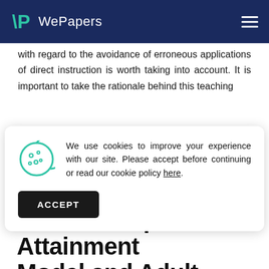WePapers
with regard to the avoidance of erroneous applications of direct instruction is worth taking into account. It is important to take the rationale behind this teaching
We use cookies to improve your experience with our site. Please accept before continuing or read our cookie policy here.
The Concept Attainment Model and Adult Learning
The...